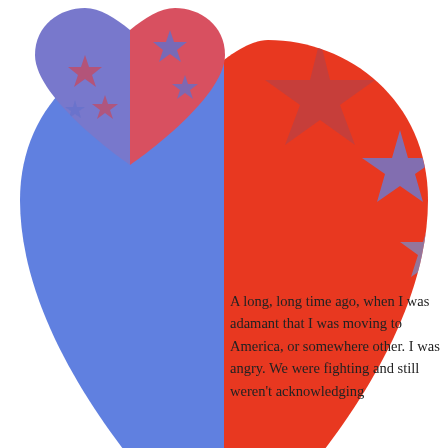[Figure (illustration): Large heart shape split diagonally, left-blue right-red, with red and blue stars overlapping the split line, cropped at top and right edges]
[Figure (illustration): Small heart shape split diagonally, left-purple/blue right-red/pink, with blue stars on the red side and red/pink stars on the blue side]
A long, long time ago, when I was adamant that I was moving to America, or somewhere other. I was angry. We were fighting and still weren't acknowledging